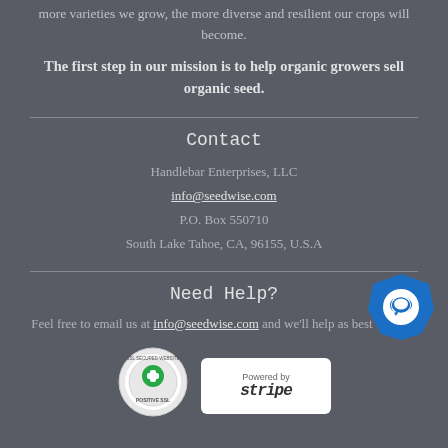more varieties we grow, the more diverse and resilient our crops will become.
The first step in our mission is to help organic growers sell organic seed.
Contact
Handlebar Enterprises, LLC
info@seedwise.com
P.O. Box 550710
South Lake Tahoe, CA, 96155, U.S.A
Need Help?
Feel free to email us at info@seedwise.com and we'll help as best we can!
[Figure (logo): Positive SSL Secured Website badge (circular green and white badge)]
[Figure (logo): Powered by Stripe badge (white rectangular badge with Stripe logo)]
[Figure (illustration): Blue hexagonal chat bubble icon in bottom right corner]